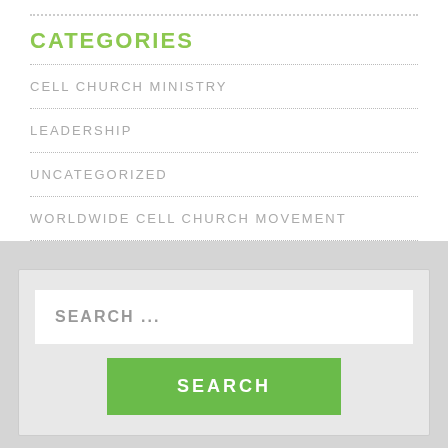CATEGORIES
CELL CHURCH MINISTRY
LEADERSHIP
UNCATEGORIZED
WORLDWIDE CELL CHURCH MOVEMENT
[Figure (screenshot): Search box with placeholder text 'SEARCH ...' and a green SEARCH button below]